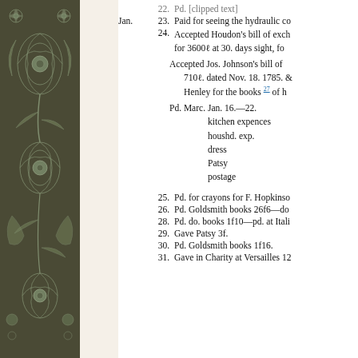22. Pd. [clipped text]
Jan. 23. Paid for seeing the hydraulic co[ntrivance?]
24. Accepted Houdon's bill of exch[ange] for 3600ℓ at 30. days sight, fo[r?]
Accepted Jos. Johnson's bill of [exchange] 710ℓ. dated Nov. 18. 1785. &[...] Henley for the books 27 of h[is?]
Pd. Marc. Jan. 16.—22.
  kitchen expences
  houshd. exp.
  dress
  Patsy
  postage
25. Pd. for crayons for F. Hopkinso[n]
26. Pd. Goldsmith books 26f6—do[?]
28. Pd. do. books 1f10—pd. at Itali[an opera?]
29. Gave Patsy 3f.
30. Pd. Goldsmith books 1f16.
31. Gave in Charity at Versailles 12[?]